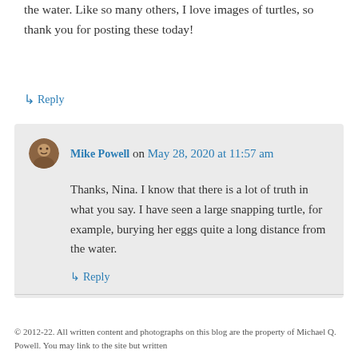the water. Like so many others, I love images of turtles, so thank you for posting these today!
↳ Reply
Mike Powell on May 28, 2020 at 11:57 am
Thanks, Nina. I know that there is a lot of truth in what you say. I have seen a large snapping turtle, for example, burying her eggs quite a long distance from the water.
↳ Reply
© 2012-22. All written content and photographs on this blog are the property of Michael Q. Powell. You may link to the site but written